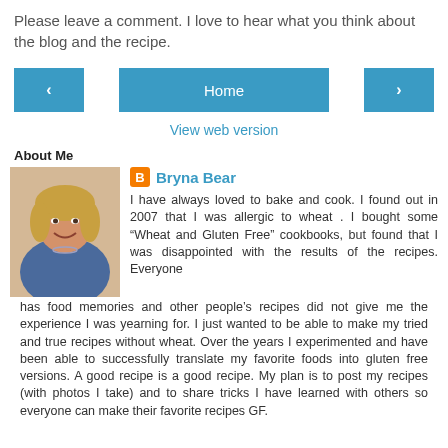Please leave a comment. I love to hear what you think about the blog and the recipe.
[Figure (screenshot): Navigation bar with left arrow button, Home button, and right arrow button, all in teal/blue color]
View web version
About Me
[Figure (photo): Photo of Bryna Bear, a woman with blonde hair smiling]
Bryna Bear
I have always loved to bake and cook. I found out in 2007 that I was allergic to wheat . I bought some “Wheat and Gluten Free” cookbooks, but found that I was disappointed with the results of the recipes. Everyone has food memories and other people’s recipes did not give me the experience I was yearning for. I just wanted to be able to make my tried and true recipes without wheat. Over the years I experimented and have been able to successfully translate my favorite foods into gluten free versions. A good recipe is a good recipe. My plan is to post my recipes (with photos I take) and to share tricks I have learned with others so everyone can make their favorite recipes GF.